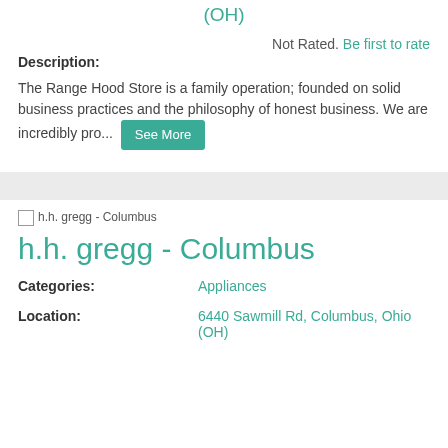(OH)
Not Rated. Be first to rate
Description:
The Range Hood Store is a family operation; founded on solid business practices and the philosophy of honest business. We are incredibly pro... See More
[Figure (photo): h.h. gregg - Columbus store image placeholder]
h.h. gregg - Columbus
Categories: Appliances
Location: 6440 Sawmill Rd, Columbus, Ohio (OH)